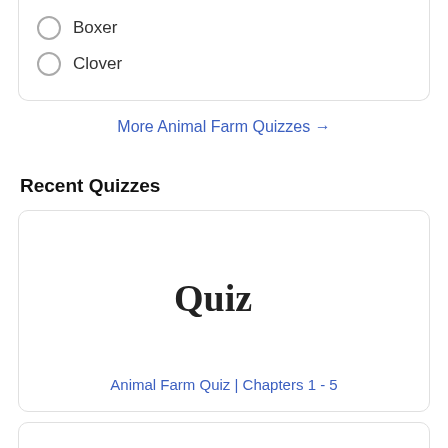Boxer
Clover
More Animal Farm Quizzes →
Recent Quizzes
[Figure (illustration): A card with the handwritten word 'Quiz' in stylized script font]
Animal Farm Quiz | Chapters 1 - 5